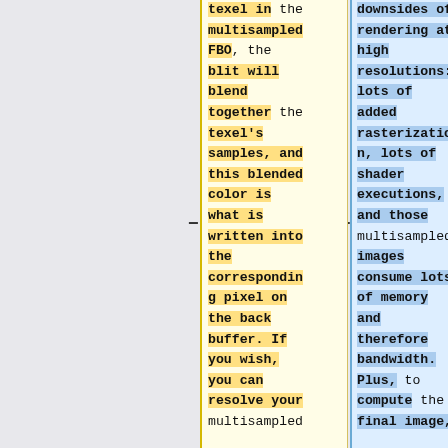texel in the multisampled FBO, the blit will blend together the texel's samples, and this blended color is what is written into the corresponding pixel on the back buffer. If you wish, you can resolve your multisampled
downsides of rendering at high resolutions: lots of added rasterization, lots of shader executions, and those multisampled images consume lots of memory and therefore bandwidth. Plus, to compute the final image,